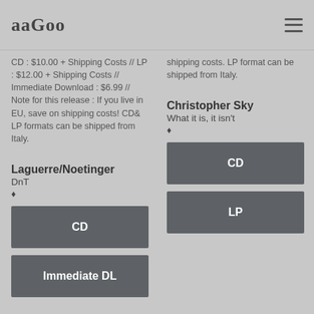aaGoo
CD : $10.00 + Shipping Costs // LP : $12.00 + Shipping Costs // Immediate Download : $6.99 // Note for this release : If you live in EU, save on shipping costs! CD& LP formats can be shipped from Italy.
shipping costs. LP format can be shipped from Italy.
Laguerre/Noetinger
DnT
[Figure (other): CD format button]
[Figure (other): Immediate DL format button]
Christopher Sky
What it is, it isn't
[Figure (other): CD format button]
[Figure (other): LP format button]